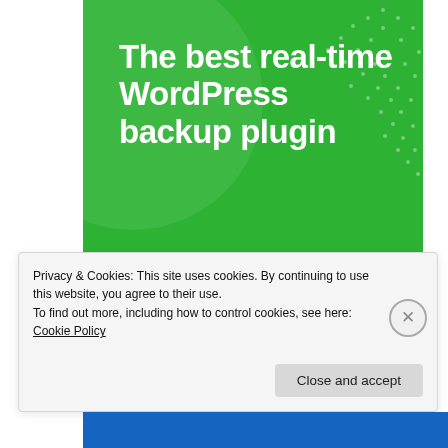[Figure (illustration): Green advertisement banner for WordPress backup plugin. Large white bold text reads 'The best real-time WordPress backup plugin' with a white rounded button labeled 'Back up your site'. Background is green with dot pattern and circular shape decorations.]
Privacy & Cookies: This site uses cookies. By continuing to use this website, you agree to their use.
To find out more, including how to control cookies, see here: Cookie Policy
Close and accept